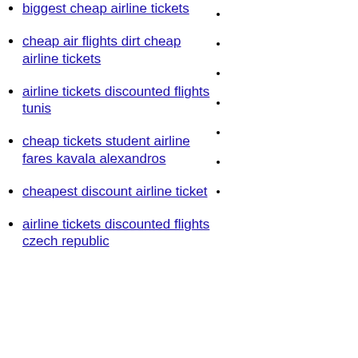biggest cheap airline tickets
cheap air flights dirt cheap airline tickets
airline tickets discounted flights tunis
cheap tickets student airline fares kavala alexandros
cheapest discount airline ticket
airline tickets discounted flights czech republic
[Figure (other): Broken image placeholder: cheap air flights discounted airline tickets ranong]
[Figure (other): Broken image placeholder: airline tickets flights flights kiev zhulhany]
[Figure (other): Broken image placeholder: airline tickets]
[Figure (other): Broken image placeholder: cheap airline tickets]
[Figure (other): Broken image placeholder: airline tickets singapore]
[Figure (other): Broken image placeholder: alitalia airline]